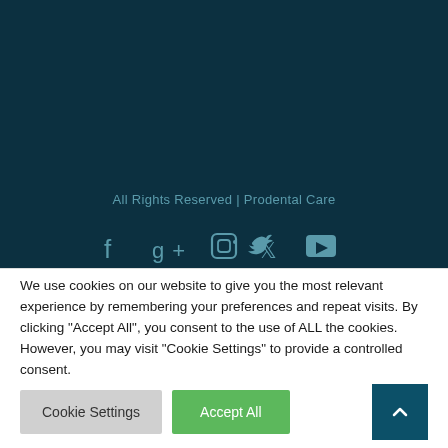All Rights Reserved | Prodental Care
[Figure (other): Social media icons: Facebook, Google+, Instagram, Twitter, YouTube on dark teal background]
We use cookies on our website to give you the most relevant experience by remembering your preferences and repeat visits. By clicking "Accept All", you consent to the use of ALL the cookies. However, you may visit "Cookie Settings" to provide a controlled consent.